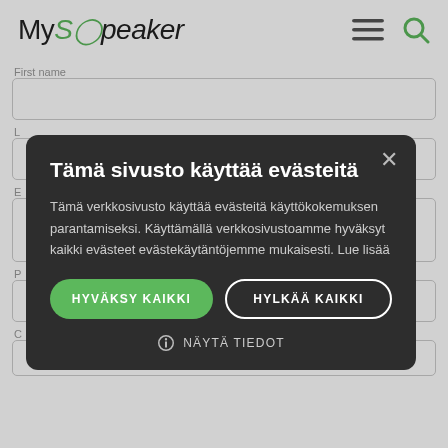[Figure (screenshot): MySpeaker website header with logo, hamburger menu icon, and green search icon]
First name
Tämä sivusto käyttää evästeitä
Tämä verkkosivusto käyttää evästeitä käyttökokemuksen parantamiseksi. Käyttämällä verkkosivustoamme hyväksyt kaikki evästeet evästekäytäntöjemme mukaisesti. Lue lisää
HYVÄKSY KAIKKI
HYLKÄÄ KAIKKI
NÄYTÄ TIEDOT